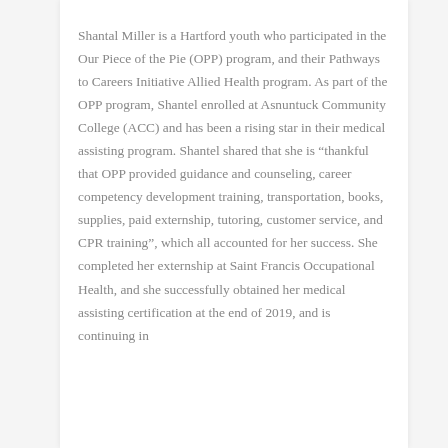Shantal Miller is a Hartford youth who participated in the Our Piece of the Pie (OPP) program, and their Pathways to Careers Initiative Allied Health program. As part of the OPP program, Shantel enrolled at Asnuntuck Community College (ACC) and has been a rising star in their medical assisting program. Shantel shared that she is “thankful that OPP provided guidance and counseling, career competency development training, transportation, books, supplies, paid externship, tutoring, customer service, and CPR training”, which all accounted for her success. She completed her externship at Saint Francis Occupational Health, and she successfully obtained her medical assisting certification at the end of 2019, and is continuing in...